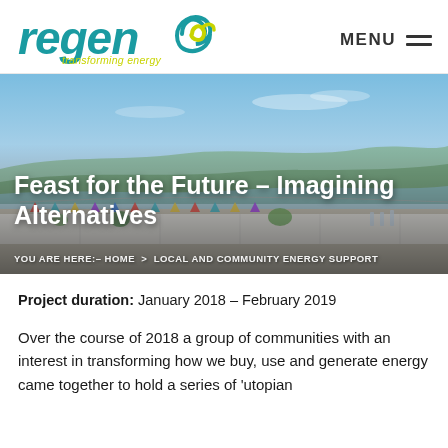[Figure (logo): Regen logo with teal 'regen' wordmark, green leaf/swirl icon, and yellow-green italic tagline 'transforming energy']
[Figure (photo): Outdoor event photo showing long white tables set for a feast on a rooftop or terrace, with colourful bunting, flowers, and a scenic river and hills in the background under a blue sky. Title overlay reads 'Feast for the Future – Imagining Alternatives' with breadcrumb navigation below.]
Feast for the Future – Imagining Alternatives
YOU ARE HERE: HOME > LOCAL AND COMMUNITY ENERGY SUPPORT
Project duration: January 2018 – February 2019
Over the course of 2018 a group of communities with an interest in transforming how we buy, use and generate energy came together to hold a series of 'utopian